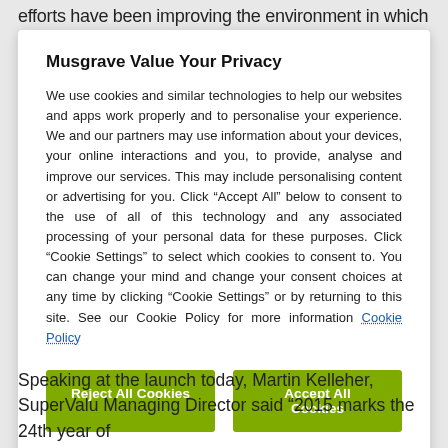efforts have been improving the environment in which we
Musgrave Value Your Privacy
We use cookies and similar technologies to help our websites and apps work properly and to personalise your experience. We and our partners may use information about your devices, your online interactions and you, to provide, analyse and improve our services. This may include personalising content or advertising for you. Click “Accept All” below to consent to the use of all of this technology and any associated processing of your personal data for these purposes. Click “Cookie Settings” to select which cookies to consent to. You can change your mind and change your consent choices at any time by clicking “Cookie Settings” or by returning to this site. See our Cookie Policy for more information Cookie Policy
Reject All Cookies
Accept All Cookies
Cookies Settings
Speaking at the launch today, Martin Kelleher, SuperValu Managing Director said “2015 marks the 24th year of